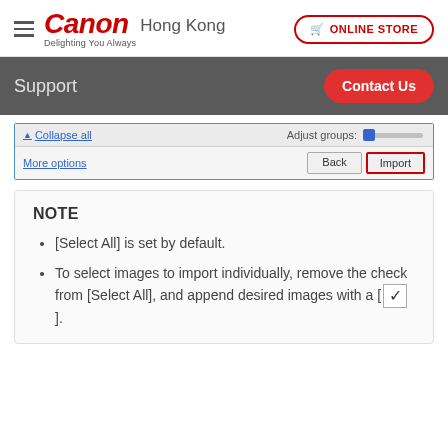Canon Hong Kong — ONLINE STORE
Support | Contact Us
[Figure (screenshot): Screenshot of an import dialog showing 'Collapse all', 'Adjust groups' slider, 'More options' link, and Back/Import buttons. The Import button is highlighted with a red border.]
NOTE
[Select All] is set by default.
To select images to import individually, remove the check from [Select All], and append desired images with a [ ✓ ].